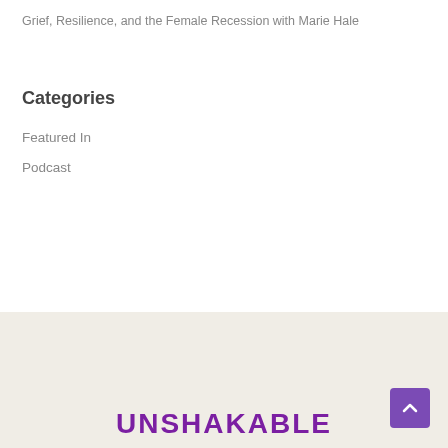Grief, Resilience, and the Female Recession with Marie Hale
Categories
Featured In
Podcast
UNSHAKABLE